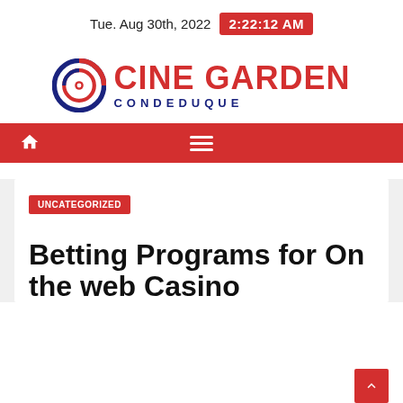Tue. Aug 30th, 2022  2:22:12 AM
[Figure (logo): Cine Garden Condeduque logo with circular emblem in red, white and dark blue, and text 'CINE GARDEN' in red bold and 'CONDEDUQUE' in dark blue spaced letters]
[Figure (other): Red navigation bar with white home icon on left and hamburger menu icon in center]
UNCATEGORIZED
Betting Programs for On the web Casino